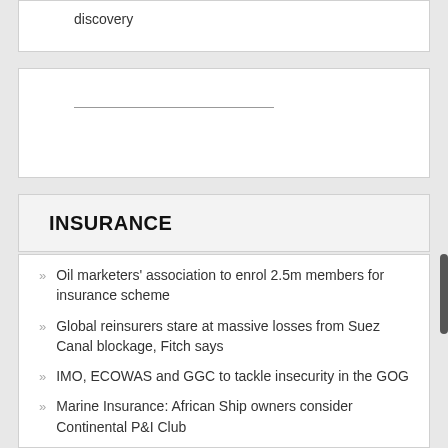discovery
INSURANCE
Oil marketers' association to enrol 2.5m members for insurance scheme
Global reinsurers stare at massive losses from Suez Canal blockage, Fitch says
IMO, ECOWAS and GGC to tackle insecurity in the GOG
Marine Insurance: African Ship owners consider Continental P&I Club
Ship insurance costs soar after Middle East tanker attacks
London marine insurers widen Middle East threat zone after ship attacks